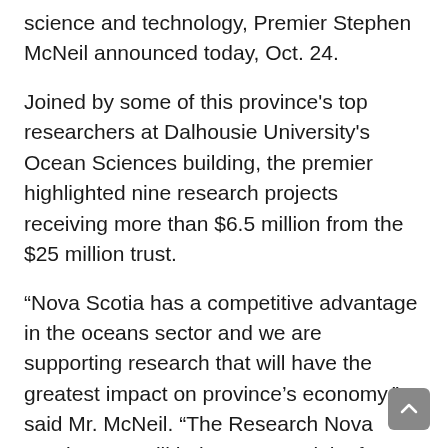science and technology, Premier Stephen McNeil announced today, Oct. 24.
Joined by some of this province's top researchers at Dalhousie University's Ocean Sciences building, the premier highlighted nine research projects receiving more than $6.5 million from the $25 million trust.
“Nova Scotia has a competitive advantage in the oceans sector and we are supporting research that will have the greatest impact on province’s economy,” said Mr. McNeil. “The Research Nova Scotia Trust will help us create jobs for Nova Scotians, particularly young Nova Scotians. A growing oceans sector will make our province